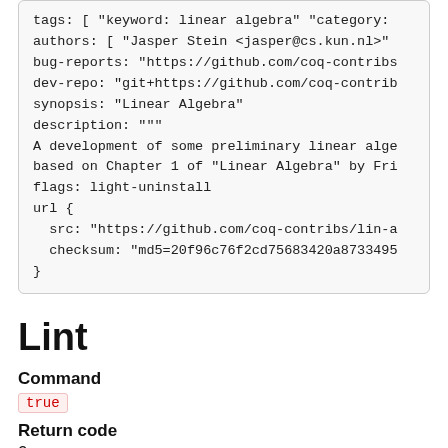tags: [ "keyword: linear algebra" "category:
author: [ "Jasper Stein <jasper@cs.kun.nl>"
bug-reports: "https://github.com/coq-contribs
dev-repo: "git+https://github.com/coq-contrib
synopsis: "Linear Algebra"
description: """
A development of some preliminary linear alge
based on Chapter 1 of "Linear Algebra" by Fri
flags: light-uninstall
url {
  src: "https://github.com/coq-contribs/lin-a
  checksum: "md5=20f96c76f2cd75683420a8733495
}
Lint
Command
true
Return code
0